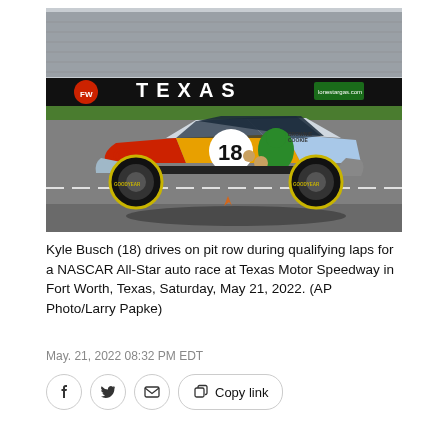[Figure (photo): Kyle Busch's #18 M&M's Cookie-sponsored NASCAR Toyota Camry driving on pit row at Texas Motor Speedway, with grandstands and TEXAS signage visible in background.]
Kyle Busch (18) drives on pit row during qualifying laps for a NASCAR All-Star auto race at Texas Motor Speedway in Fort Worth, Texas, Saturday, May 21, 2022. (AP Photo/Larry Papke)
May. 21, 2022 08:32 PM EDT